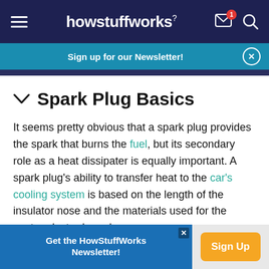howstuffworks
Sign up for our Newsletter!
Spark Plug Basics
It seems pretty obvious that a spark plug provides the spark that burns the fuel, but its secondary role as a heat dissipater is equally important. A spark plug's ability to transfer heat to the car's cooling system is based on the length of the insulator nose and the materials used for the center electrode and
Get the HowStuffWorks Newsletter! Sign Up